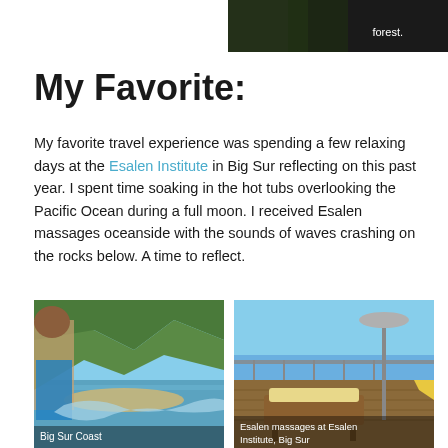[Figure (photo): Dark image (forest/trees) with white text reading 'forest.' in the upper right area]
My Favorite:
My favorite travel experience was spending a few relaxing days at the Esalen Institute in Big Sur reflecting on this past year. I spent time soaking in the hot tubs overlooking the Pacific Ocean during a full moon. I received Esalen massages oceanside with the sounds of waves crashing on the rocks below. A time to reflect.
[Figure (photo): Photo of Big Sur coastline with cliffs and ocean, person in foreground. Caption: Big Sur Coast]
[Figure (photo): Photo of Esalen Institute massage tables overlooking the Pacific Ocean. Caption: Esalen massages at Esalen Institute, Big Sur]